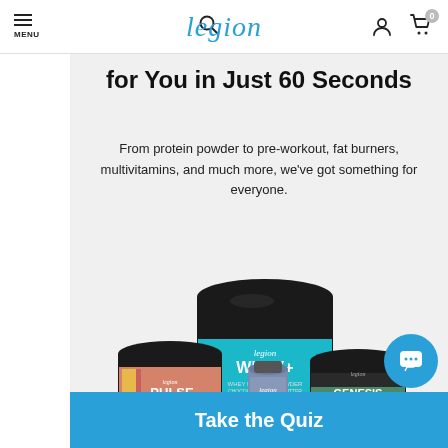MENU | Search | legion | account | cart (0)
for You in Just 60 Seconds
From protein powder to pre-workout, fat burners, multivitamins, and much more, we've got something for everyone.
[Figure (photo): Group of Legion Athletics supplement products: a large black tub of WHEY+ protein, a smaller tub of PULSE pre-workout, a bottle of FORGE+ fat burner, and a tub of GENESIS multivitamin, arranged together on a light gray background.]
Take the Quiz